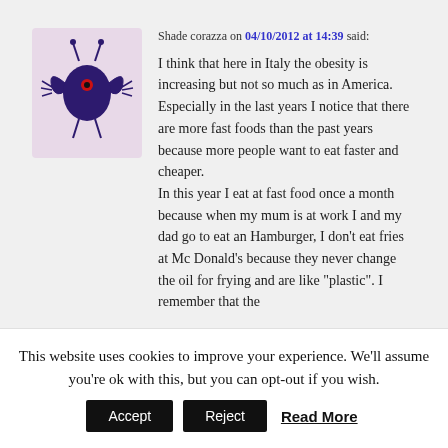[Figure (illustration): Purple cartoon monster/butterfly creature avatar with antennae and stick legs on a light purple background]
Shade corazza on 04/10/2012 at 14:39 said:
I think that here in Italy the obesity is increasing but not so much as in America. Especially in the last years I notice that there are more fast foods than the past years because more people want to eat faster and cheaper.
In this year I eat at fast food once a month because when my mum is at work I and my dad go to eat an Hamburger, I don't eat fries at Mc Donald's because they never change the oil for frying and are like "plastic". I remember that the
This website uses cookies to improve your experience. We'll assume you're ok with this, but you can opt-out if you wish.
Accept
Reject
Read More